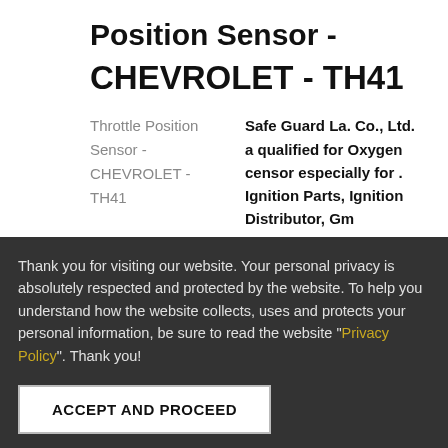Position Sensor - CHEVROLET - TH41
Throttle Position Sensor - CHEVROLET - TH41	Safe Guard La. Co., Ltd. a qualified for Oxygen censor especially for . Ignition Parts, Ignition Distributor, Gm Distributor, Ignition
Thank you for visiting our website. Your personal privacy is absolutely respected and protected by the website. To help you understand how the website collects, uses and protects your personal information, be sure to read the website "Privacy Policy". Thank you!
ACCEPT AND PROCEED